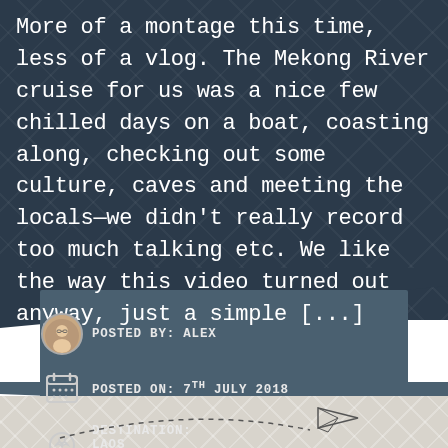More of a montage this time, less of a vlog. The Mekong River cruise for us was a nice few chilled days on a boat, coasting along, checking out some culture, caves and meeting the locals—we didn't really record too much talking etc. We like the way this video turned out anyway, just a simple [...]
Posted by: Alex
Posted on: 7th July 2018
Destination: Laos
[Figure (illustration): Paper plane icon with dashed arc trajectory line at the bottom of the page]